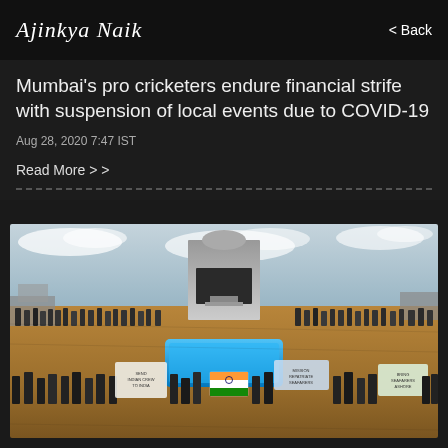Ajinkya Naik   < Back
Mumbai's pro cricketers endure financial strife with suspension of local events due to COVID-19
Aug 28, 2020 7:47 IST
Read More > >
[Figure (photo): Aerial view of a cruise ship deck crowded with people holding protest signs and an Indian flag, with a pool visible in the center and ship tower in the background under cloudy sky.]